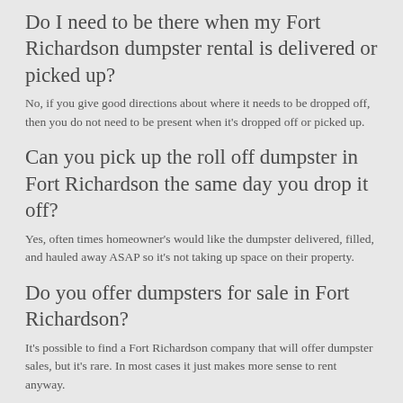Do I need to be there when my Fort Richardson dumpster rental is delivered or picked up?
No, if you give good directions about where it needs to be dropped off, then you do not need to be present when it's dropped off or picked up.
Can you pick up the roll off dumpster in Fort Richardson the same day you drop it off?
Yes, often times homeowner's would like the dumpster delivered, filled, and hauled away ASAP so it's not taking up space on their property.
Do you offer dumpsters for sale in Fort Richardson?
It's possible to find a Fort Richardson company that will offer dumpster sales, but it's rare. In most cases it just makes more sense to rent anyway.
Ready to start comparing prices on a dumpster rental in Fort Richardson? Complete the quick quote form or give one of the verified companies in Fort Richardson a call right now. You won't